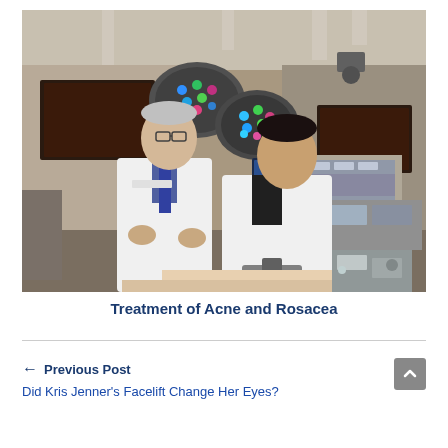[Figure (photo): Two doctors in white lab coats standing in a medical operating room with surgical lights, monitors, and medical equipment visible in the background.]
Treatment of Acne and Rosacea
← Previous Post
Did Kris Jenner's Facelift Change Her Eyes?